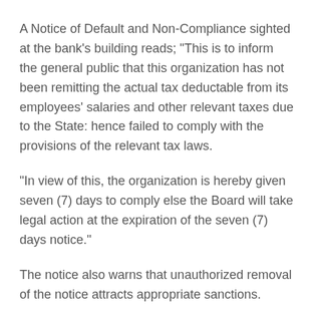A Notice of Default and Non-Compliance sighted at the bank's building reads; "This is to inform the general public that this organization has not been remitting the actual tax deductable from its employees' salaries and other relevant taxes due to the State: hence failed to comply with the provisions of the relevant tax laws.
"In view of this, the organization is hereby given seven (7) days to comply else the Board will take legal action at the expiration of the seven (7) days notice."
The notice also warns that unauthorized removal of the notice attracts appropriate sanctions.
Mr. Leo Leo Umana who expressed displeasure at the backlog of the tax debt, said the notice was aimed at